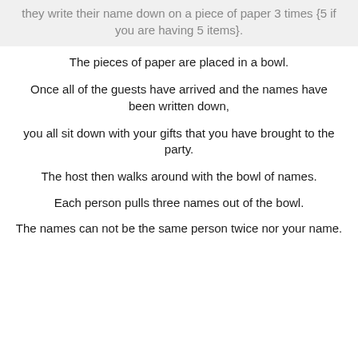they write their name down on a piece of paper 3 times {5 if you are having 5 items}.
The pieces of paper are placed in a bowl.
Once all of the guests have arrived and the names have been written down,
you all sit down with your gifts that you have brought to the party.
The host then walks around with the bowl of names.
Each person pulls three names out of the bowl.
The names can not be the same person twice nor your name.